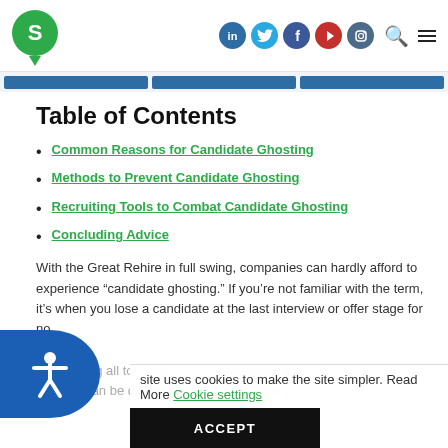Site logo with social icons (LinkedIn, Twitter, Facebook, YouTube, Instagram), search and menu icons
Table of Contents
Common Reasons for Candidate Ghosting
Methods to Prevent Candidate Ghosting
Recruiting Tools to Combat Candidate Ghosting
Concluding Advice
With the Great Rehire in full swing, companies can hardly afford to experience “candidate ghosting.” If you’re not familiar with the term, it’s when you lose a candidate at the last interview or offer stage for no apparent reason. This is becoming all too common in the workplace where it can be devastating to recruiters, hiring
site uses cookies to make the site simpler. Read More Cookie settings
ACCEPT